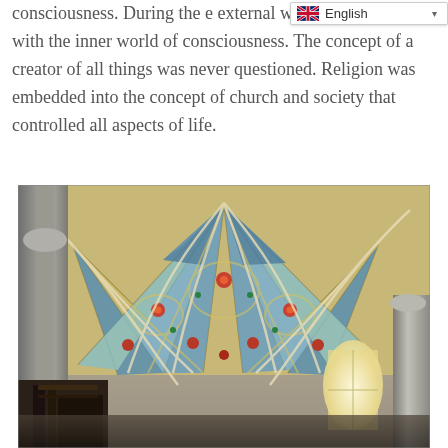consciousness. During the e... external world was aligned with the inner world of consciousness. The concept of a creator of all things was never questioned. Religion was embedded into the concept of church and society that controlled all aspects of life.
[Figure (photo): Interior photograph of a Gothic cathedral showing ornate fan-vaulted ceiling with blue, gold, green, and red decorative paintwork, stone columns, and a bright window visible in the background.]